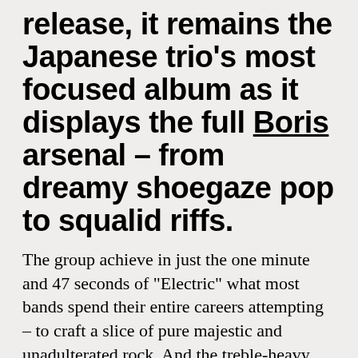release, it remains the Japanese trio's most focused album as it displays the full Boris arsenal – from dreamy shoegaze pop to squalid riffs.
The group achieve in just the one minute and 47 seconds of "Electric" what most bands spend their entire careers attempting – to craft a slice of pure majestic and unadulterated rock. And the treble-heavy mix of the recordings plays straight into the album's garage rock fixation, showing off their ambition, charm, and...